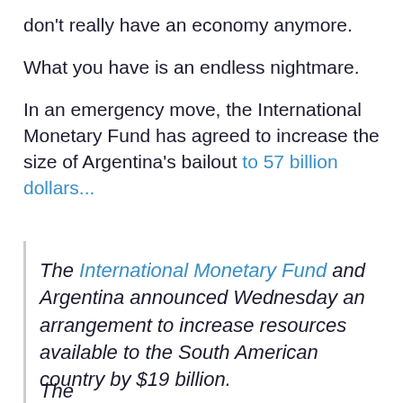don't really have an economy anymore.
What you have is an endless nightmare.
In an emergency move, the International Monetary Fund has agreed to increase the size of Argentina's bailout to 57 billion dollars...
The International Monetary Fund and Argentina announced Wednesday an arrangement to increase resources available to the South American country by $19 billion.